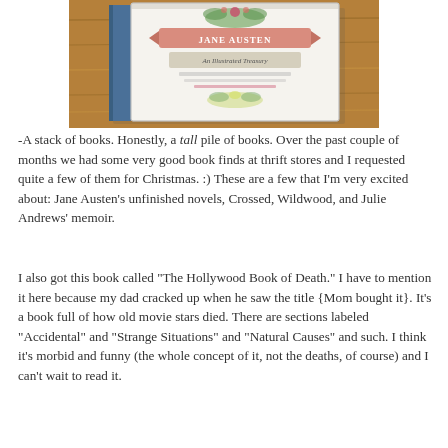[Figure (photo): A hardcover book titled 'Jane Austen: An Illustrated Treasury' lying on a wooden surface, with a blue spine visible and a decorative illustrated cover featuring botanical elements and a banner with the author's name.]
-A stack of books. Honestly, a tall pile of books. Over the past couple of months we had some very good book finds at thrift stores and I requested quite a few of them for Christmas. :) These are a few that I'm very excited about: Jane Austen's unfinished novels, Crossed, Wildwood, and Julie Andrews' memoir.
I also got this book called "The Hollywood Book of Death." I have to mention it here because my dad cracked up when he saw the title {Mom bought it}. It's a book full of how old movie stars died. There are sections labeled "Accidental" and "Strange Situations" and "Natural Causes" and such. I think it's morbid and funny (the whole concept of it, not the deaths, of course) and I can't wait to read it.